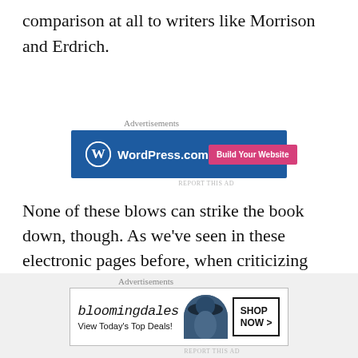comparison at all to writers like Morrison and Erdrich.
[Figure (screenshot): WordPress.com advertisement banner with blue background, WordPress logo, and pink 'Build Your Website' button]
None of these blows can strike the book down, though. As we’ve seen in these electronic pages before, when criticizing popular classics as various as Dracula and The Color Purple, there is finally nothing to be said against a novel that creates a
[Figure (screenshot): Bloomingdale's advertisement banner showing logo, 'View Today's Top Deals!' text, woman with hat image, and 'SHOP NOW >' button]